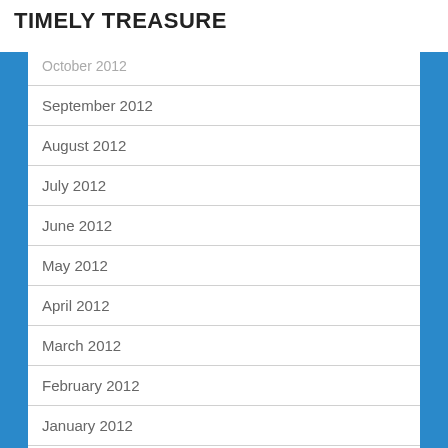TIMELY TREASURE
October 2012
September 2012
August 2012
July 2012
June 2012
May 2012
April 2012
March 2012
February 2012
January 2012
December 2011